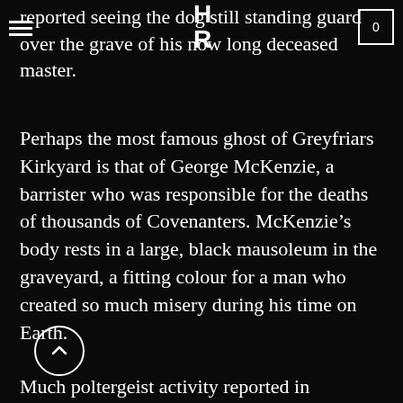HR logo and navigation bar with hamburger menu and cart showing 0
reported seeing the dog still standing guard over the grave of his now long deceased master.
Perhaps the most famous ghost of Greyfriars Kirkyard is that of George McKenzie, a barrister who was responsible for the deaths of thousands of Covenanters. McKenzie’s body rests in a large, black mausoleum in the graveyard, a fitting colour for a man who created so much misery during his time on Earth.
Much poltergeist activity reported in Greyfriars Kirkyard has been attributed to George McKenzie’s unruly spirit. Many visitors to the